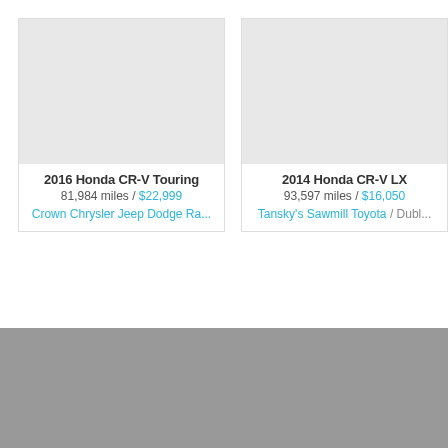[Figure (screenshot): Car listing card for 2016 Honda CR-V Touring showing a gray placeholder image area]
2016 Honda CR-V Touring
81,984 miles / $22,999
Crown Chrysler Jeep Dodge Ra...
[Figure (screenshot): Car listing card for 2014 Honda CR-V LX showing a gray placeholder image area]
2014 Honda CR-V LX
93,597 miles / $16,050
Tansky's Sawmill Toyota / Dubl...